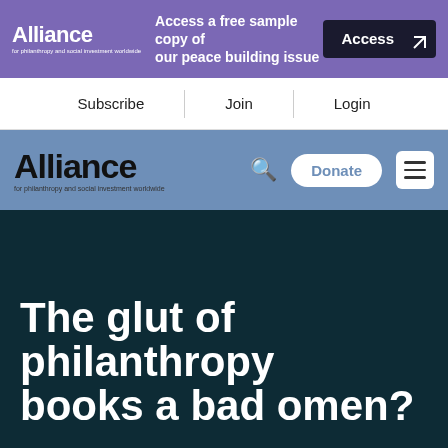[Figure (screenshot): Alliance magazine banner advertisement with purple background. Shows Alliance logo on left, text 'Access a free sample copy of our peace building issue' in center, and dark 'Access' button with cursor icon on right.]
Subscribe | Join | Login
[Figure (logo): Alliance magazine navigation header on blue/steel background. Shows Alliance logo (large text) on left, search icon, white rounded 'Donate' button, and hamburger menu icon on right.]
The glut of philanthropy books a bad omen?